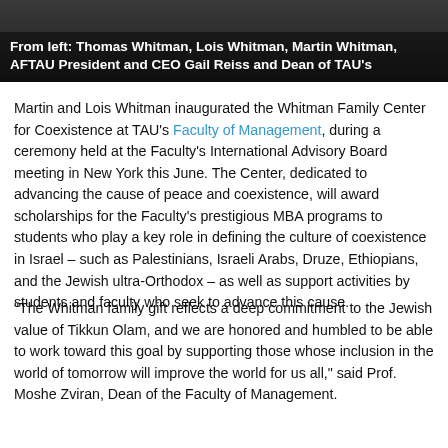[Figure (photo): Dark photo of group of people with white bold caption text at bottom reading: From left: Thomas Whitman, Lois Whitman, Martin Whitman, AFTAU President and CEO Gail Reiss and Dean of TAU's]
Martin and Lois Whitman inaugurated the Whitman Family Center for Coexistence at TAU's Faculty of Management, during a ceremony held at the Faculty's International Advisory Board meeting in New York this June. The Center, dedicated to advancing the cause of peace and coexistence, will award scholarships for the Faculty's prestigious MBA programs to students who play a key role in defining the culture of coexistence in Israel – such as Palestinians, Israeli Arabs, Druze, Ethiopians, and the Jewish ultra-Orthodox – as well as support activities by students and faculty who seek to advance this cause.
“The Whitman family gift reflects a deep commitment to the Jewish value of Tikkun Olam, and we are honored and humbled to be able to work toward this goal by supporting those whose inclusion in the world of tomorrow will improve the world for us all,” said Prof. Moshe Zviran, Dean of the Faculty of Management.